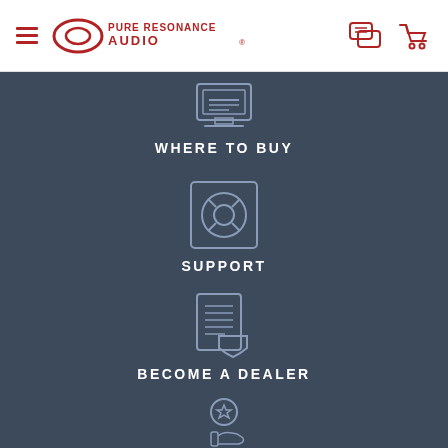[Figure (logo): Pure Resonance Audio logo with hamburger menu, oval logo mark, wordmark, chat icon, and shopping cart icon in header]
[Figure (infographic): Navigation menu icons on dark blue-grey background: WHERE TO BUY (shopping/screen icon), SUPPORT (life preserver icon), BECOME A DEALER (document with shield icon), CONTRACTOR REWARDS (hand with star icon)]